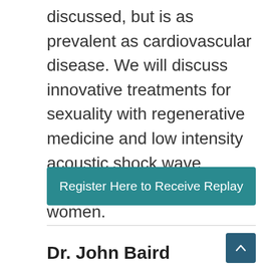discussed, but is as prevalent as cardiovascular disease. We will discuss innovative treatments for sexuality with regenerative medicine and low intensity acoustic shock wave therapy for men and women.
Register Here to Receive Replay
Dr. John Baird